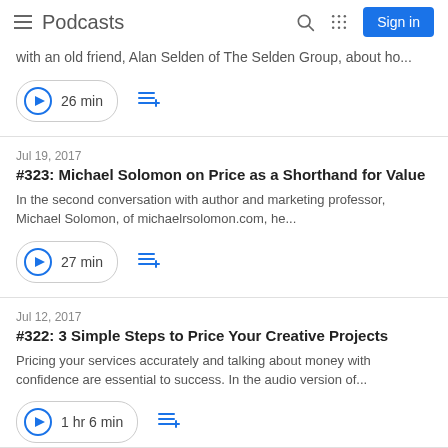Podcasts
with an old friend, Alan Selden of The Selden Group, about ho...
26 min
Jul 19, 2017
#323: Michael Solomon on Price as a Shorthand for Value
In the second conversation with author and marketing professor, Michael Solomon, of michaelrsolomon.com, he...
27 min
Jul 12, 2017
#322: 3 Simple Steps to Price Your Creative Projects
Pricing your services accurately and talking about money with confidence are essential to success. In the audio version of...
1 hr 6 min